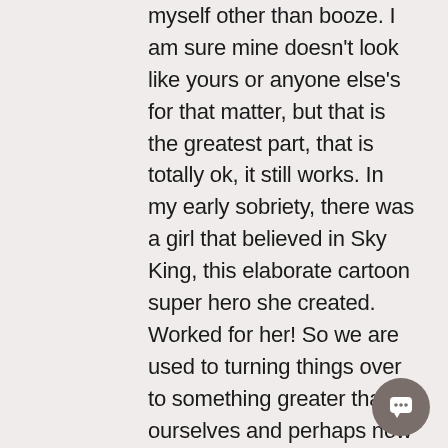myself other than booze. I am sure mine doesn't look like yours or anyone else's for that matter, but that is the greatest part, that is totally ok, it still works. In my early sobriety, there was a girl that believed in Sky King, this elaborate cartoon super hero she created. Worked for her! So we are used to turning things over to something greater than ourselves and perhaps now we might help others do the same. We have found a path for hope and faith. Perhaps now we can assist others find their own...

One of the first things you learn on the road to recovery is that there's a lot going on in life that you can't
[Figure (other): Round dark gray chat/message bubble icon button in the bottom right corner]